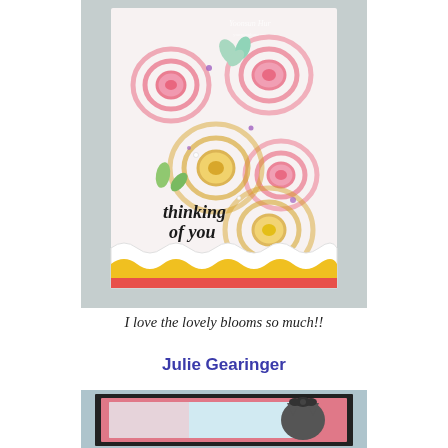[Figure (photo): A handmade greeting card with watercolor roses in pink and yellow, with green leaves, on a white background with a scalloped edge. A yellow and coral/red banner runs across the bottom. Text reads 'thinking of you' in script. Small purple and white gem accents. Photographer watermark visible at top right.]
I love the lovely blooms so much!!
Julie Gearinger
[Figure (photo): A framed artwork or card featuring a cat with a dark bow on its head, set against a pink and light blue watercolor or patterned background with a hexagonal texture. The frame is dark/black with a pink mat.]